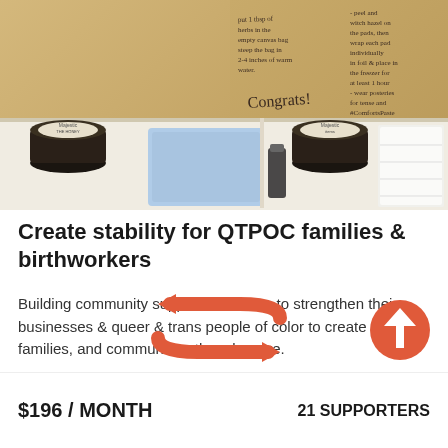[Figure (photo): An open cardboard box containing postpartum care items including dark-lidded jars with labels, blue pads/ice packs, a small bottle, and white pads. The inside of the box flap has handwritten instructions and 'Congrats!' written on it.]
Create stability for QTPOC families & birthworkers
Building community support for doulas to strengthen their businesses & queer & trans people of color to create the lives, families, and communities they deserve.
[Figure (infographic): Two coral/orange icons: a circular arrow icon (recurring/subscription symbol) on the left and an upward arrow circle icon on the right.]
$196 / MONTH
21 SUPPORTERS